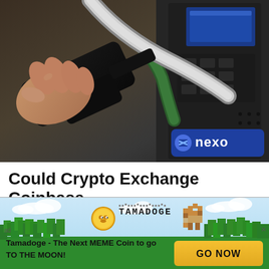[Figure (photo): A hand holding a black gas pump nozzle at a fuel station with multiple pumps visible in the background. A blue Nexo logo badge is shown in the lower right of the image.]
Could Crypto Exchange Coinbase Be Preparing Taxes To The Moon?
[Figure (illustration): Tamadoge advertisement banner with sky, pixel-art trees, Tamadoge coin logo, cartoon dog, and a yellow GO NOW button. Text: 'Tamadoge - The Next MEME Coin to go TO THE MOON!']